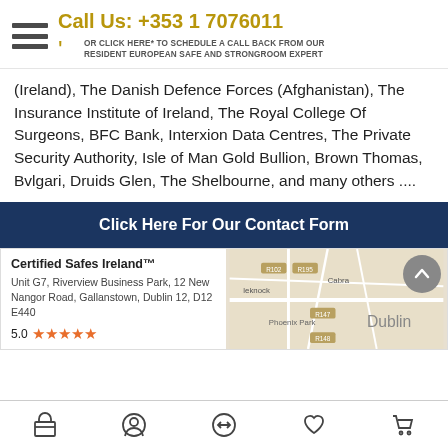Call Us: +353 1 7076011 | OR CLICK HERE* TO SCHEDULE A CALL BACK FROM OUR RESIDENT EUROPEAN SAFE AND STRONGROOM EXPERT
(Ireland), The Danish Defence Forces (Afghanistan), The Insurance Institute of Ireland, The Royal College Of Surgeons, BFC Bank, Interxion Data Centres, The Private Security Authority, Isle of Man Gold Bullion, Brown Thomas, Bvlgari, Druids Glen, The Shelbourne, and many others ....
Click Here For Our Contact Form
[Figure (map): Google Maps embed showing Gallanstown/Dublin area with road labels R102, R195, R147, R148, area names Blanchardstown, Cabra, Phoenix Park, Dublin]
Certified Safes Ireland™
Unit G7, Riverview Business Park, 12 New Nangor Road, Gallanstown, Dublin 12, D12 E440
5.0 ★★★★★
Navigation icons: shop, profile, share, heart/wishlist, cart